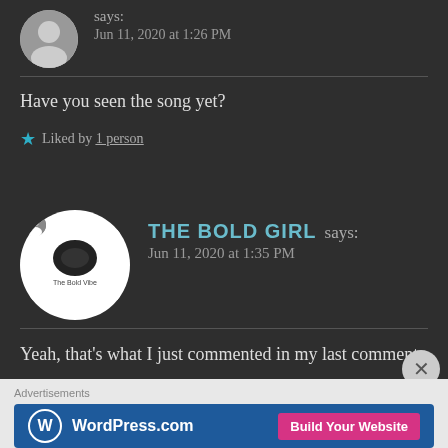says:
Jun 11, 2020 at 1:26 PM
Have you seen the song yet?
★ Liked by 1 person
THE BOLD GIRL says:
Jun 11, 2020 at 1:35 PM
Yeah, that's what I just commented in my last comment.
Advertisements
[Figure (logo): WordPress.com ad banner with 'Build Your Website' button]